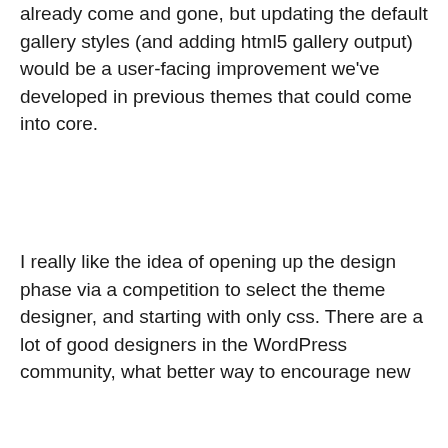already come and gone, but updating the default gallery styles (and adding html5 gallery output) would be a user-facing improvement we've developed in previous themes that could come into core.
I really like the idea of opening up the design phase via a competition to select the theme designer, and starting with only css. There are a lot of good designers in the WordPress community, what better way to encourage new